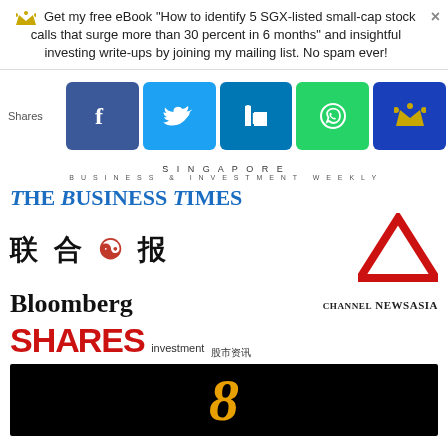Get my free eBook "How to identify 5 SGX-listed small-cap stock calls that surge more than 30 percent in 6 months" and insightful investing write-ups by joining my mailing list. No spam ever!
[Figure (screenshot): Social sharing bar with Facebook, Twitter, LinkedIn, WhatsApp, and Crown/email share buttons]
[Figure (logo): Singapore Business & Investment Weekly header]
[Figure (logo): The Business Times logo in blue serif font]
[Figure (logo): Lianhe Zaobao (联合早报) Chinese newspaper logo in black with red circle character]
[Figure (logo): Channel NewsAsia logo with red triangle A icon]
[Figure (logo): Bloomberg logo in black serif font]
[Figure (logo): Shares Investment (股市资讯) logo in red bold font]
[Figure (logo): Channel 8 logo showing stylized number 8 in orange/gold on black background]